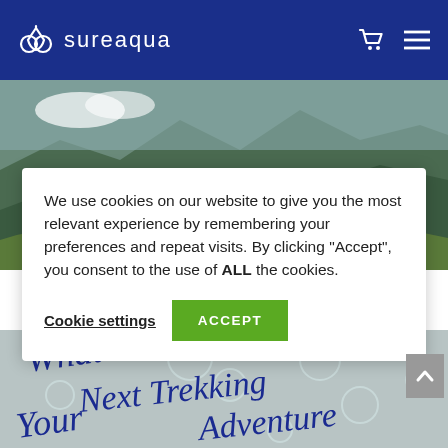sureaqua
[Figure (photo): Two hikers on a mountain, one reaching down to help the other climb up, wearing colorful jackets in a green alpine landscape]
We use cookies on our website to give you the most relevant experience by remembering your preferences and repeat visits. By clicking “Accept”, you consent to the use of ALL the cookies.
Cookie settings
ACCEPT
[Figure (illustration): Script/cursive text in dark blue reading 'What to ... Your Next Trekking Adventure' on a grey background with bubble/circle decorations]